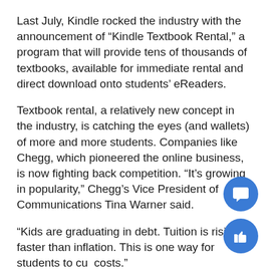Last July, Kindle rocked the industry with the announcement of “Kindle Textbook Rental,” a program that will provide tens of thousands of textbooks, available for immediate rental and direct download onto students’ eReaders.
Textbook rental, a relatively new concept in the industry, is catching the eyes (and wallets) of more and more students. Companies like Chegg, which pioneered the online business, is now fighting back competition. “It’s growing in popularity,” Chegg’s Vice President of Communications Tina Warner said.
“Kids are graduating in debt. Tuition is rising faster than inflation. This is one way for students to cut costs.”
Chegg is trying to do for the textbook industry what Netflix did for movie rentals; students go to their